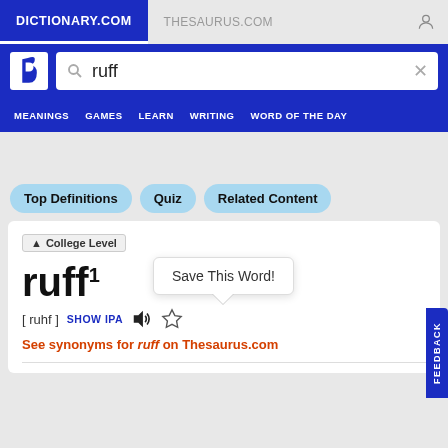DICTIONARY.COM | THESAURUS.COM
ruff (search query)
MEANINGS  GAMES  LEARN  WRITING  WORD OF THE DAY
Top Definitions  Quiz  Related Content
College Level
Save This Word!
ruff1
[ ruhf ]  SHOW IPA
See synonyms for ruff on Thesaurus.com
FEEDBACK